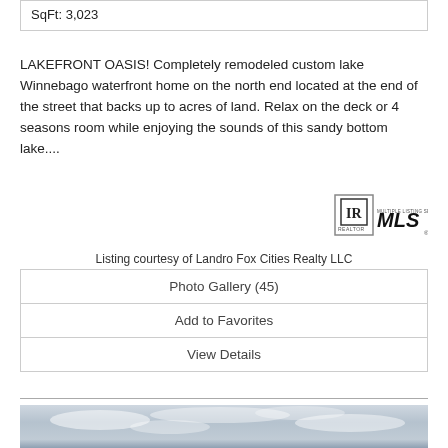SqFt: 3,023
LAKEFRONT OASIS! Completely remodeled custom lake Winnebago waterfront home on the north end located at the end of the street that backs up to acres of land. Relax on the deck or 4 seasons room while enjoying the sounds of this sandy bottom lake....
[Figure (logo): Realtor / MLS logo — box with IR and 'REALTOR' text, alongside bold 'MLS' text]
Listing courtesy of Landro Fox Cities Realty LLC
| Photo Gallery (45) |
| Add to Favorites |
| View Details |
[Figure (photo): Cloudy sky photo, bottom of page]